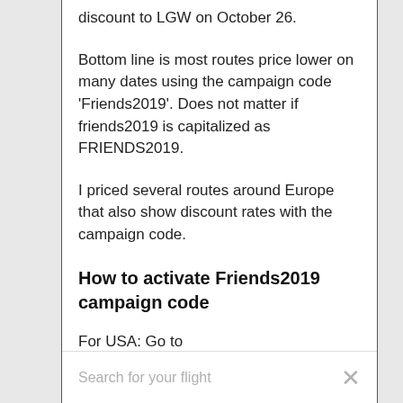discount to LGW on October 26.
Bottom line is most routes price lower on many dates using the campaign code 'Friends2019'. Does not matter if friends2019 is capitalized as FRIENDS2019.
I priced several routes around Europe that also show discount rates with the campaign code.
How to activate Friends2019 campaign code
For USA: Go to https://www.norwegian.com/us
Search for your flight